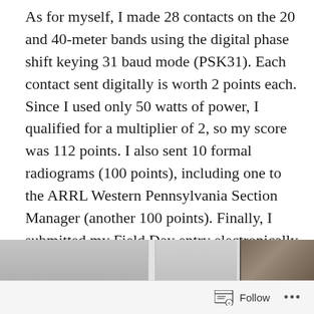As for myself, I made 28 contacts on the 20 and 40-meter bands using the digital phase shift keying 31 baud mode (PSK31). Each contact sent digitally is worth 2 points each. Since I used only 50 watts of power, I qualified for a multiplier of 2, so my score was 112 points. I also sent 10 formal radiograms (100 points), including one to the ARRL Western Pennsylvania Section Manager (another 100 points). Finally, I submitted my Field Day entry electronically (another 50 points). My preliminary total was 462 points. I made contacts in Alabama, Florida, Illinois, Indiana, Iowa, Maine, Massachusetts, Michigan, Minnesota, Missouri, New Jersey, New York, North Carolina, Pennsylvania, Tennessee, Wisconsin, and Ontario.
[Figure (photo): A partially visible photo strip at the bottom of the page showing what appears to be equipment or scenery, partially cut off.]
Follow ...